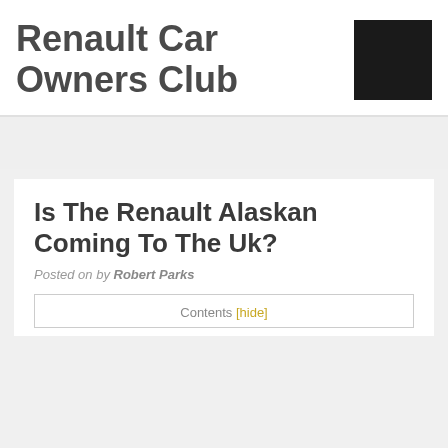Renault Car Owners Club
[Figure (other): Black square logo placeholder]
Is The Renault Alaskan Coming To The Uk?
Posted on by Robert Parks
Contents [hide]
We store cookies: if you do not agree, you can close the site Agreement